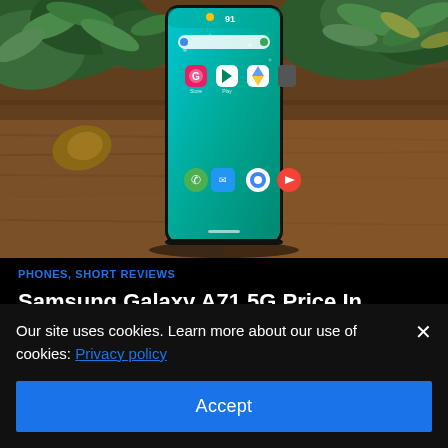[Figure (photo): Samsung Galaxy A71 5G smartphone displayed face-up on a wooden surface with green plants in the background. The phone screen shows a teal/green wallpaper with app icons including Google Play, Chrome, YouTube, Phone, and Messages.]
PHONES, SHORT REVIEWS
Samsung Galaxy A71 5G Price In Nigeria &
Our site uses cookies. Learn more about our use of cookies: Privacy policy
Accept